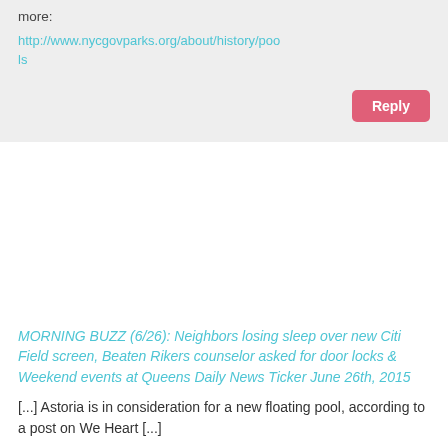more:
http://www.nycgovparks.org/about/history/pools
Reply
MORNING BUZZ (6/26): Neighbors losing sleep over new Citi Field screen, Beaten Rikers counselor asked for door locks & Weekend events at Queens Daily News Ticker June 26th, 2015
[...] Astoria is in consideration for a new floating pool, according to a post on We Heart [...]
Reply